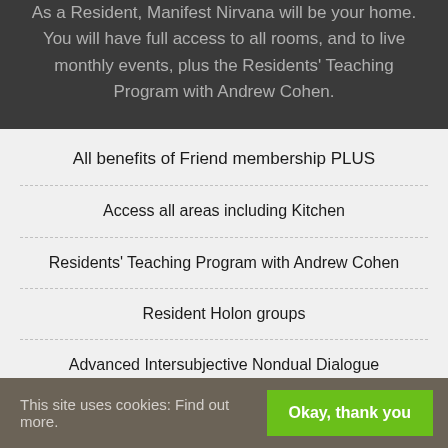As a Resident, Manifest Nirvana will be your home. You will have full access to all rooms, and to live monthly events, plus the Residents' Teaching Program with Andrew Cohen.
All benefits of Friend membership PLUS
Access all areas including Kitchen
Residents' Teaching Program with Andrew Cohen
Resident Holon groups
Advanced Intersubjective Nondual Dialogue
Private Members' Library
Reconciliation (and other)
This site uses cookies: Find out more. Okay, thank you